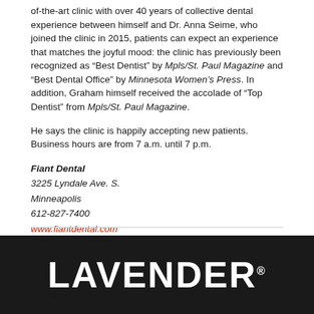of-the-art clinic with over 40 years of collective dental experience between himself and Dr. Anna Seime, who joined the clinic in 2015, patients can expect an experience that matches the joyful mood: the clinic has previously been recognized as “Best Dentist” by Mpls/St. Paul Magazine and “Best Dental Office” by Minnesota Women’s Press. In addition, Graham himself received the accolade of “Top Dentist” from Mpls/St. Paul Magazine.
He says the clinic is happily accepting new patients. Business hours are from 7 a.m. until 7 p.m.
Fiant Dental
3225 Lyndale Ave. S.
Minneapolis
612-827-7400
www.fiantdental.com
LAVENDER